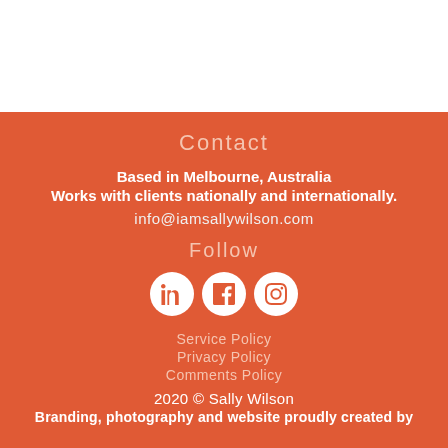Contact
Based in Melbourne, Australia
Works with clients nationally and internationally.
info@iamsallywilson.com
Follow
[Figure (infographic): Three social media icons in white circles on orange background: LinkedIn, Facebook, Instagram]
Service Policy
Privacy Policy
Comments Policy
2020 © Sally Wilson
Branding, photography and website proudly created by